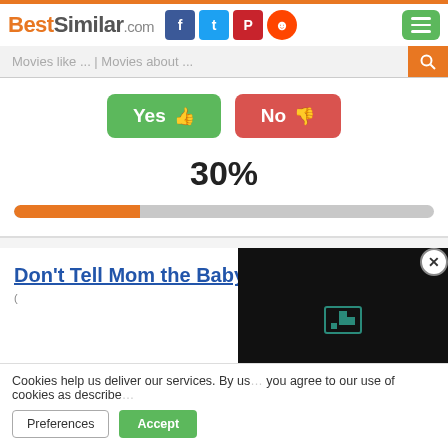BestSimilar.com
Movies like ... | Movies about ...
Yes 👍  No 👎
30%
[Figure (other): Progress bar showing 30% filled in orange on grey background]
Don't Tell Mom the Babysitter's Dead (1991)
Cookies help us deliver our services. By us... you agree to our use of cookies as describe...
Preferences  Accept